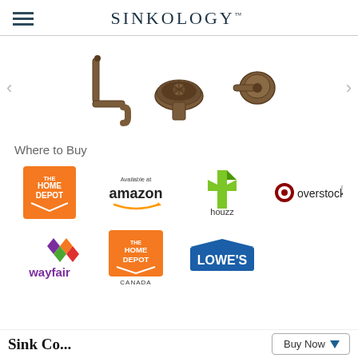SINKOLOGY
[Figure (photo): Product carousel showing three plumbing accessories in bronze/copper finish: a P-trap/drain assembly, a sink strainer viewed from top, and a faucet handle. Left and right navigation arrows on sides.]
Where to Buy
[Figure (logo): The Home Depot logo - orange square with white text]
[Figure (logo): Available at amazon logo with smile arrow]
[Figure (logo): Houzz logo - green angular shape with houzz text]
[Figure (logo): Overstock logo - red circle O with overstock text]
[Figure (logo): Wayfair logo - purple wayfair text with multicolor diamond]
[Figure (logo): The Home Depot Canada logo - orange square with white text, CANADA below]
[Figure (logo): Lowe's logo - blue house shape with Lowe's text in white]